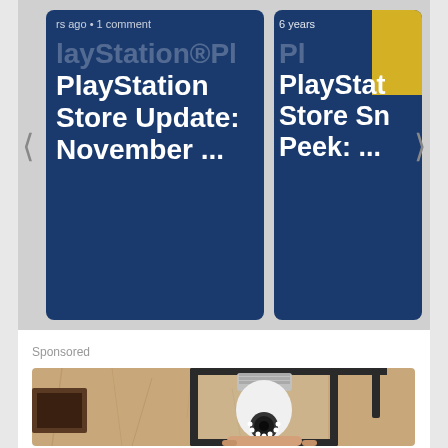[Figure (screenshot): Carousel showing two PlayStation Store article cards with navigation arrows. Left card: metadata 'rs ago • 1 comment', title 'PlayStation Store Update: November ...'. Right card: metadata '6 years', title 'PlayStat... Store Sn... Peek: ...'.]
Sponsored
[Figure (photo): Advertisement photo showing a security camera bulb being installed into an outdoor black metal lantern fixture mounted on a textured stucco wall. A hand is holding the bulb-shaped camera at the bottom.]